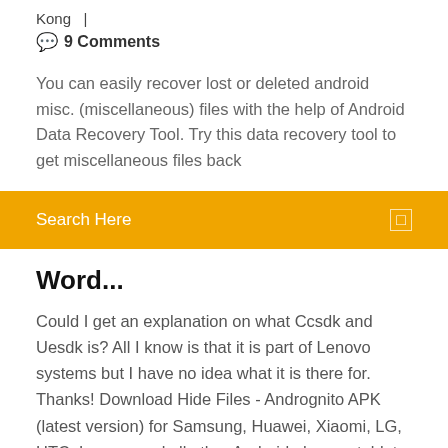Kong  |
💬  9 Comments
You can easily recover lost or deleted android misc. (miscellaneous) files with the help of Android Data Recovery Tool. Try this data recovery tool to get miscellaneous files back
Search Here
Word...
Could I get an explanation on what Ccsdk and Uesdk is? All I know is that it is part of Lenovo systems but I have no idea what it is there for. Thanks! Download Hide Files - Andrognito APK (latest version) for Samsung, Huawei, Xiaomi, LG, HTC, Lenovo and all other Android phones, tablets and devices. Download Shareit PC: The shareit for PC version supports Windows Vista, XP, 8.1 and 10 so that you can receive files from one device This guide introduces how to delete phone contacts